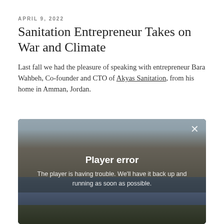APRIL 9, 2022
Sanitation Entrepreneur Takes on War and Climate
Last fall we had the pleasure of speaking with entrepreneur Bara Wahbeh, Co-founder and CTO of Akyas Sanitation, from his home in Amman, Jordan.
[Figure (screenshot): Video player showing a riverfront scene with buildings in the background, displaying a 'Player error' overlay message: 'The player is having trouble. We'll have it back up and running as soon as possible.' A close button (×) is visible in the top right corner of the player.]